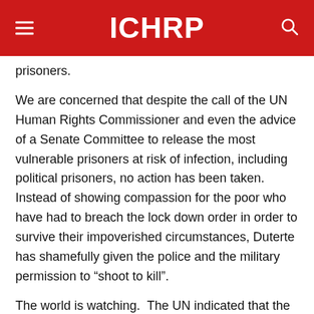ICHRP
prisoners.
We are concerned that despite the call of the UN Human Rights Commissioner and even the advice of a Senate Committee to release the most vulnerable prisoners at risk of infection, including political prisoners, no action has been taken.  Instead of showing compassion for the poor who have had to breach the lock down order in order to survive their impoverished circumstances, Duterte has shamefully given the police and the military permission to “shoot to kill”.
The world is watching.  The UN indicated that the Philippines “highly militarized response” to contain the pandemic has led to actions against more than a hundred thousand people for